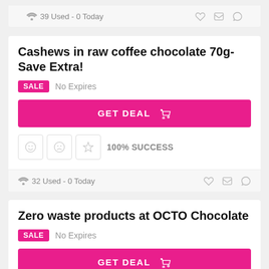39 Used - 0 Today
Cashews in raw coffee chocolate 70g- Save Extra!
SALE  No Expires
GET DEAL
100% SUCCESS
32 Used - 0 Today
Zero waste products at OCTO Chocolate
SALE  No Expires
GET DEAL